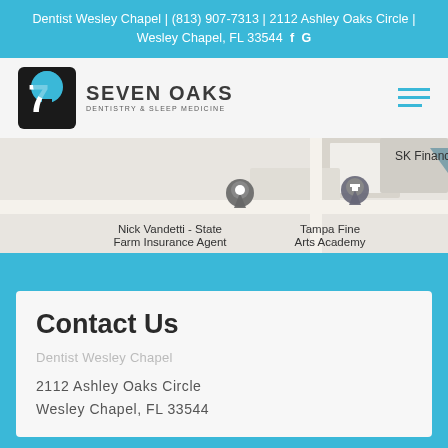Dentist Wesley Chapel | (813) 907-7313 | 2112 Ashley Oaks Circle | Wesley Chapel, FL 33544  f  G
[Figure (logo): Seven Oaks Dentistry & Sleep Medicine logo with tree icon and text]
[Figure (map): Google Maps screenshot showing area near Seven Oaks Dentistry with pins for Nick Vandetti - State Farm Insurance Agent and Tampa Fine Arts Academy, and SK Financial CPA label visible]
Contact Us
Dentist Wesley Chapel
2112 Ashley Oaks Circle
Wesley Chapel, FL 33544